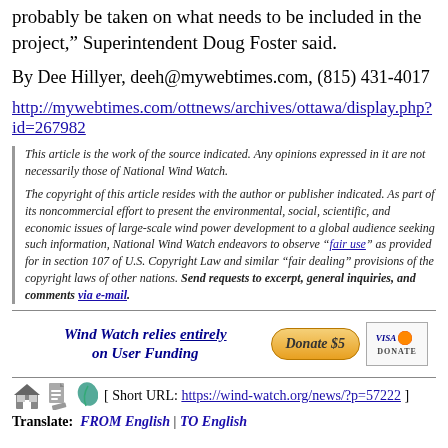probably be taken on what needs to be included in the project," Superintendent Doug Foster said.
By Dee Hillyer, deeh@mywebtimes.com, (815) 431-4017
http://mywebtimes.com/ottnews/archives/ottawa/display.php?id=267982
This article is the work of the source indicated. Any opinions expressed in it are not necessarily those of National Wind Watch.

The copyright of this article resides with the author or publisher indicated. As part of its noncommercial effort to present the environmental, social, scientific, and economic issues of large-scale wind power development to a global audience seeking such information, National Wind Watch endeavors to observe "fair use" as provided for in section 107 of U.S. Copyright Law and similar "fair dealing" provisions of the copyright laws of other nations. Send requests to excerpt, general inquiries, and comments via e-mail.
[Figure (infographic): Wind Watch donation banner: text 'Wind Watch relies entirely on User Funding', yellow donate $5 button, and Visa/Mastercard donate box]
[ Short URL: https://wind-watch.org/news/?p=57222 ]
Translate:  FROM English | TO English